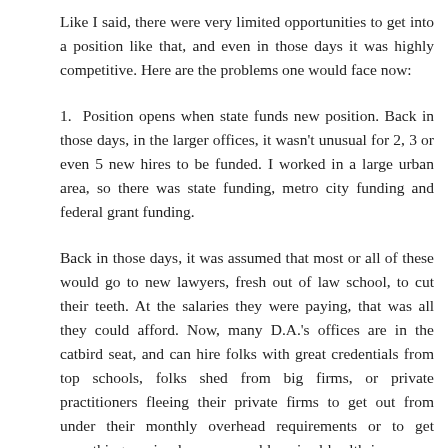Like I said, there were very limited opportunities to get into a position like that, and even in those days it was highly competitive. Here are the problems one would face now:
1. Position opens when state funds new position. Back in those days, in the larger offices, it wasn't unusual for 2, 3 or even 5 new hires to be funded. I worked in a large urban area, so there was state funding, metro city funding and federal grant funding.
Back in those days, it was assumed that most or all of these would go to new lawyers, fresh out of law school, to cut their teeth. At the salaries they were paying, that was all they could afford. Now, many D.A.'s offices are in the catbird seat, and can hire folks with great credentials from top schools, folks shed from big firms, or private practitioners fleeing their private firms to get out from under their monthly overhead requirements or to get something as simple as reasonably priced health insurance. So that's a big difference.
Also, with austerity measures squeezing state budgets, it's